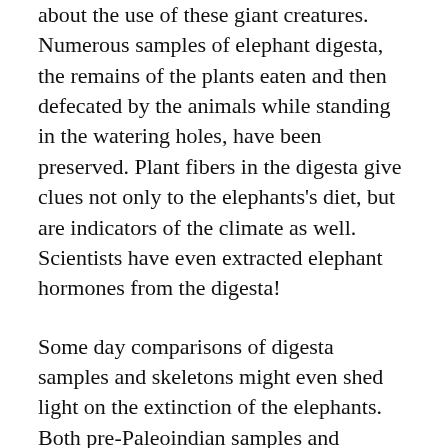about the use of these giant creatures. Numerous samples of elephant digesta, the remains of the plants eaten and then defecated by the animals while standing in the watering holes, have been preserved. Plant fibers in the digesta give clues not only to the elephants's diet, but are indicators of the climate as well. Scientists have even extracted elephant hormones from the digesta!
Some day comparisons of digesta samples and skeletons might even shed light on the extinction of the elephants. Both pre-Paleoindian samples and samples from Paleoindian occupation are known. Evidence of stress caused by over-hunting may show up in the latter, perhaps in dietary changes, in comparisons of bone densities, or in the ages of the animals hunted. For instance, as herds became smaller and animals harder to find, the Paleoindians may have become less selective in the animals they hunted, seeking to kill not only easy